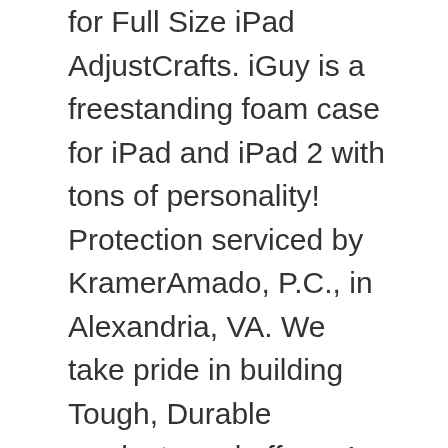for Full Size iPad AdjustCrafts. iGuy is a freestanding foam case for iPad and iPad 2 with tons of personality! Protection serviced by KramerAmado, P.C., in Alexandria, VA. We take pride in building Tough, Durable products and offer a 1 year warranty with all purchases. Interest will be charged to your account from the purchase date if the balance is not paid in full within 6 months. It is a two-piece protective carrying case that fits Apple iPad 2018 Student … $10. Cellular360 case with strap for iPad Mini 4 – Protective case with handstrap and shoulder strap for iPad Mini 4. Add to Cart. I wore my iPad all through the conference and was besieged by people asking about it. The PayPal Credit account is issued by Synchrony Bank